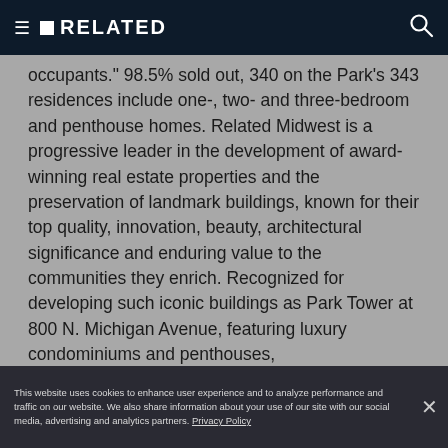RELATED
occupants." 98.5% sold out, 340 on the Park's 343 residences include one-, two- and three-bedroom and penthouse homes. Related Midwest is a progressive leader in the development of award-winning real estate properties and the preservation of landmark buildings, known for their top quality, innovation, beauty, architectural significance and enduring value to the communities they enrich. Recognized for developing such iconic buildings as Park Tower at 800 N. Michigan Avenue, featuring luxury condominiums and penthouses,
Related Midwest also develops commercial, mixed-use and affordable housing projects throughout the Midwest and United States. It is located at 350 W. Hubbard St., Chicago. For additional information please visit relatedmidwest.com
This website uses cookies to enhance user experience and to analyze performance and traffic on our website. We also share information about your use of our site with our social media, advertising and analytics partners. Privacy Policy